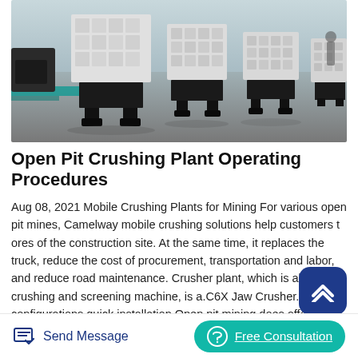[Figure (photo): Industrial warehouse with large white and black jaw/impact crushing machines on black metal frames arranged in a row on a concrete floor]
Open Pit Crushing Plant Operating Procedures
Aug 08, 2021 Mobile Crushing Plants for Mining For various open pit mines, Camelway mobile crushing solutions help customers t ores of the construction site. At the same time, it replaces the truck, reduce the cost of procurement, transportation and labor, and reduce road maintenance. Crusher plant, which is also called crushing and screening machine, is a.C6X Jaw Crusher. Top configurations quick installation Open pit mining does offer some advantages over traditional deep shaft mining Pit mining is cost effective than shaft mining because ore can be extracted and quickly
Send Message  Free Consultation